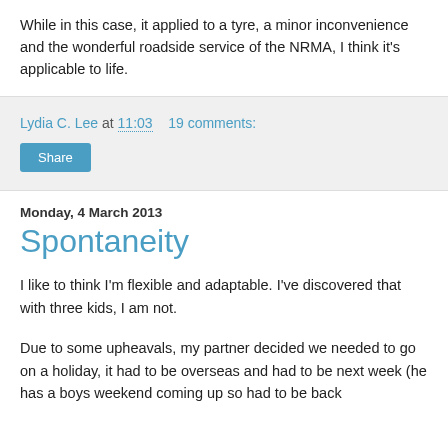While in this case, it applied to a tyre, a minor inconvenience and the wonderful roadside service of the NRMA, I think it's applicable to life.
Lydia C. Lee at 11:03    19 comments:
Share
Monday, 4 March 2013
Spontaneity
I like to think I'm flexible and adaptable. I've discovered that with three kids, I am not.
Due to some upheavals, my partner decided we needed to go on a holiday, it had to be overseas and had to be next week (he has a boys weekend coming up so had to be back